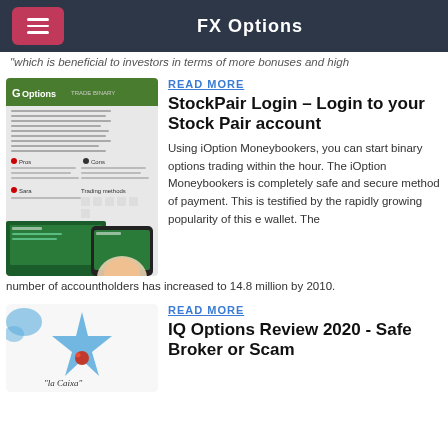FX Options
which is beneficial to investors in terms of more bonuses and high
READ MORE
StockPair Login – Login to your Stock Pair account
Using iOption Moneybookers, you can start binary options trading within the hour. The iOption Moneybookers is completely safe and secure method of payment. This is testified by the rapidly growing popularity of this e wallet. The number of accountholders has increased to 14.8 million by 2010.
READ MORE
IQ Options Review 2020 - Safe Broker or Scam